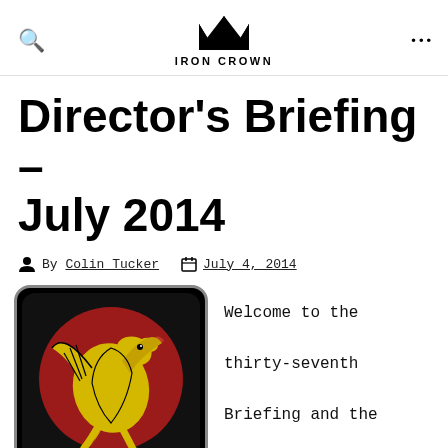IRON CROWN
Director's Briefing – July 2014
By Colin Tucker  July 4, 2014
[Figure (illustration): A circular emblem with black background and gray border, featuring a yellow/gold dragon on a red circle background.]
Welcome to the thirty-seventh Briefing and the